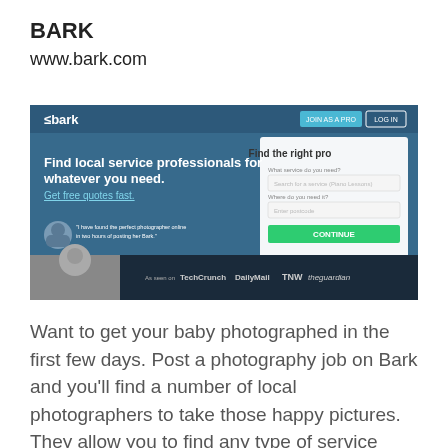BARK
www.bark.com
[Figure (screenshot): Screenshot of bark.com website homepage showing 'Find local service professionals for whatever you need. Get free quotes fast.' with a 'Find the right pro' form on the right side, and media logos at the bottom.]
Want to get your baby photographed in the first few days. Post a photography job on Bark and you'll find a number of local photographers to take those happy pictures. They allow you to find any type of service professional locally and compare quotes.